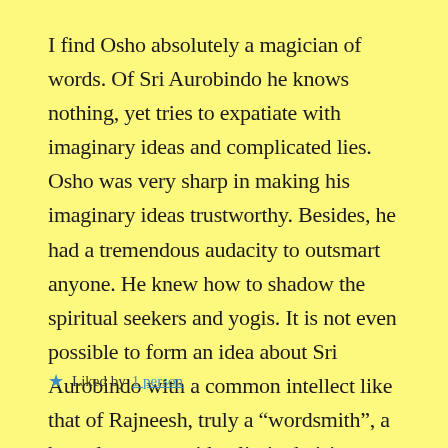I find Osho absolutely a magician of words. Of Sri Aurobindo he knows nothing, yet tries to expatiate with imaginary ideas and complicated lies. Osho was very sharp in making his imaginary ideas trustworthy. Besides, he had a tremendous audacity to outsmart anyone. He knew how to shadow the spiritual seekers and yogis. It is not even possible to form an idea about Sri Aurobindo with a common intellect like that of Rajneesh, truly a “wordsmith”, a hatred-monger with a limited vision.
★ Liked by 1 person